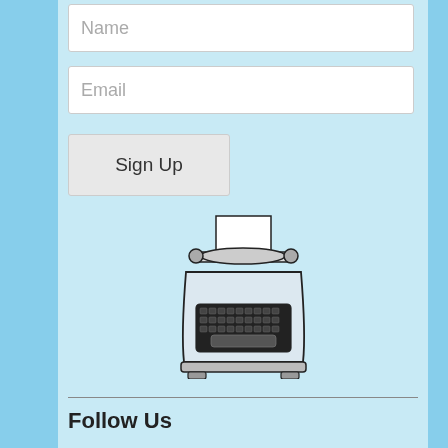Name
Email
Sign Up
[Figure (illustration): Black ink line drawing of a vintage typewriter with paper inserted]
Follow Us
[Figure (other): Two circular social media icons: Facebook (f) and Instagram (camera)]